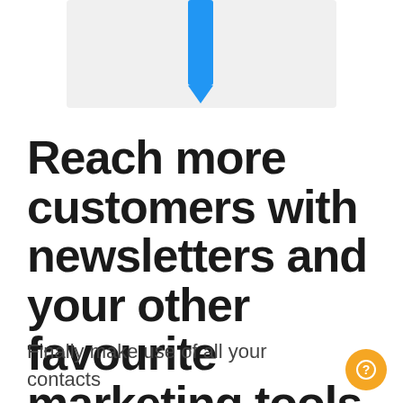[Figure (screenshot): Partial screenshot of a UI element showing a blue vertical bar/indicator on a light grey card background, cropped at the top]
Reach more customers with newsletters and your other favourite marketing tools
Finally make use of all your contacts